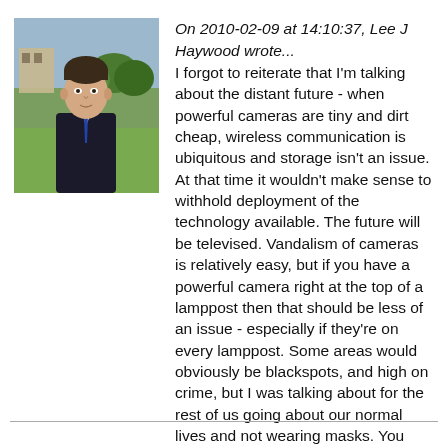[Figure (photo): Headshot of Lee J Haywood, a young man in a dark suit and tie, standing outdoors with green grass and buildings in background.]
On 2010-02-09 at 14:10:37, Lee J Haywood wrote...
I forgot to reiterate that I'm talking about the distant future - when powerful cameras are tiny and dirt cheap, wireless communication is ubiquitous and storage isn't an issue. At that time it wouldn't make sense to withhold deployment of the technology available. The future will be televised. Vandalism of cameras is relatively easy, but if you have a powerful camera right at the top of a lamppost then that should be less of an issue - especially if they're on every lamppost. Some areas would obviously be blackspots, and high on crime, but I was talking about for the rest of us going about our normal lives and not wearing masks. You already pass under speed cameras in cars, after all...